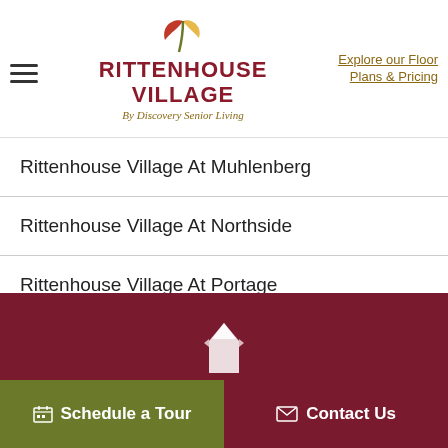Rittenhouse Village By Discovery Senior Living — Explore our Floor Plans & Pricing
Rittenhouse Village At Muhlenberg
Rittenhouse Village At Northside
Rittenhouse Village At Portage
Rittenhouse Village Gahanna
Schedule a Tour | Contact Us